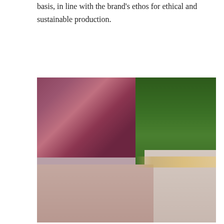basis, in line with the brand's ethos for ethical and sustainable production.
[Figure (photo): A model with short pink hair wearing black sheer lingerie (bralette and briefs with embellishments), seated in a pink chair with a floral wallpaper background and large green plant, with tattoos visible on arms and torso.]